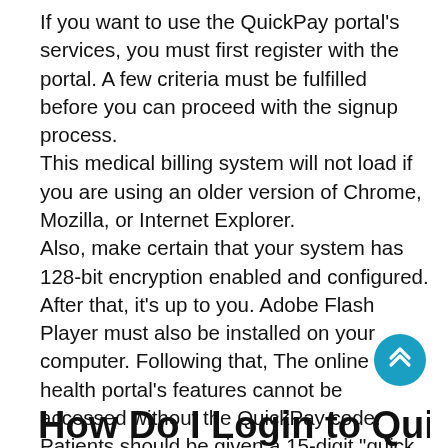If you want to use the QuickPay portal's services, you must first register with the portal. A few criteria must be fulfilled before you can proceed with the signup process.
This medical billing system will not load if you are using an older version of Chrome, Mozilla, or Internet Explorer.
Also, make certain that your system has 128-bit encryption enabled and configured.
After that, it's up to you. Adobe Flash Player must also be installed on your computer. Following that, The online health portal's features cannot be accessed without the QuickPay code. Patients should be given a 15-digit "quick pay code" when they are admitted to or diagnosed at a hospital. A patient's statement or document will have this code, which is also known as a statement id or an access code
[Figure (other): Circular teal scroll-to-top button with double upward chevron arrows]
How Do I Login to QuickPay